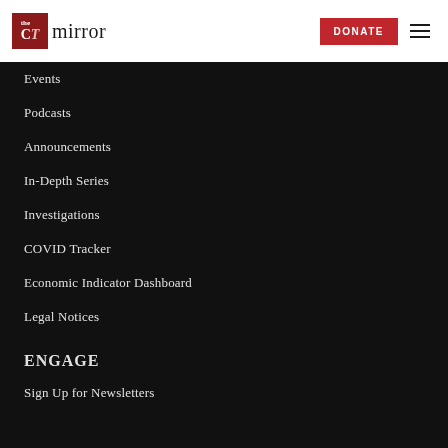the CT mirror | DONATE | menu
Events
Podcasts
Announcements
In-Depth Series
Investigations
COVID Tracker
Economic Indicator Dashboard
Legal Notices
ENGAGE
Sign Up for Newsletters